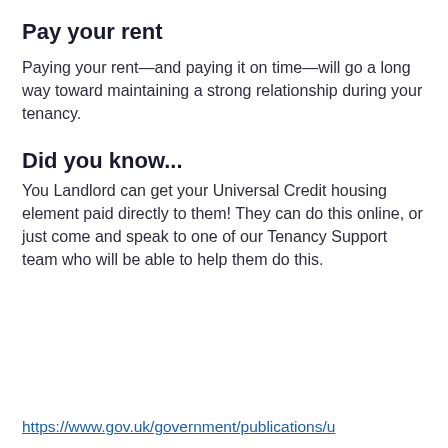Pay your rent
Paying your rent—and paying it on time—will go a long way toward maintaining a strong relationship during your tenancy.
Did you know...
You Landlord can get your Universal Credit housing element paid directly to them! They can do this online, or just come and speak to one of our Tenancy Support team who will be able to help them do this.
https://www.gov.uk/government/publications/u